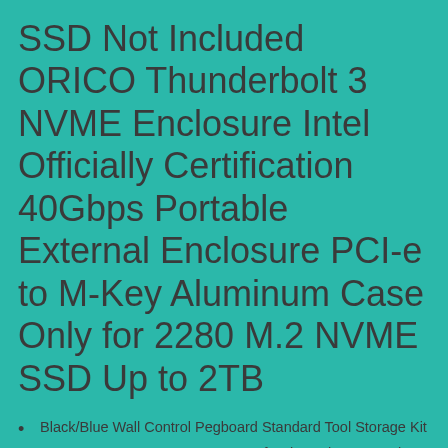SSD Not Included ORICO Thunderbolt 3 NVME Enclosure Intel Officially Certification 40Gbps Portable External Enclosure PCI-e to M-Key Aluminum Case Only for 2280 M.2 NVME SSD Up to 2TB
Black/Blue Wall Control Pegboard Standard Tool Storage Kit
GEEK LIGHTING Mens Waterproof Rain Jacket Front Zip Lightweight Hooded Raincoat
3 PCS Coaster Resin Molds Sets,Coaster Silicone Epoxy Mold Kit,Personalized Ornamental Placemats Coaster Casting Making for DIY,Cup Mats,Faux Agate Slices,Home Decoration
A1 Size Stencil - XLarge Dog Cat Animal Pet Love Paw Mylar Airbrush Painting Wall Art Crafts Stencil Two